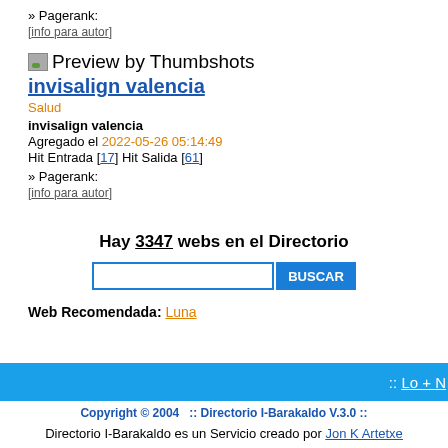» Pagerank:
[info para autor]
[Figure (illustration): Thumbshots preview icon]
invisalign valencia
Salud
invisalign valencia
Agregado el 2022-05-26 05:14:49
Hit Entrada [17] Hit Salida [61]
» Pagerank:
[info para autor]
Hay 3347 webs en el Directorio
BUSCAR
Web Recomendada: Luna
:: Lo + N
Copyright © 2004   :: Directorio I-Barakaldo V.3.0 ::
Directorio I-Barakaldo es un Servicio creado por Jon K Artetxe